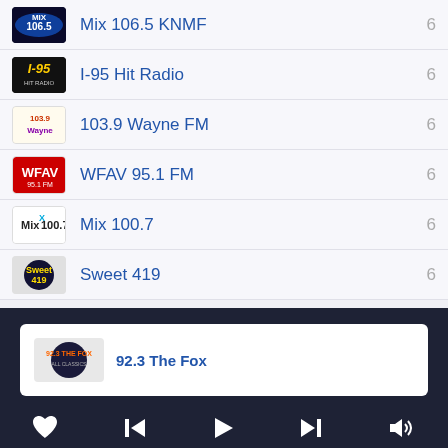Mix 106.5 KNMF  6
I-95 Hit Radio  6
103.9 Wayne FM  6
WFAV 95.1 FM  6
Mix 100.7  6
Sweet 419  6
92.3 The Fox